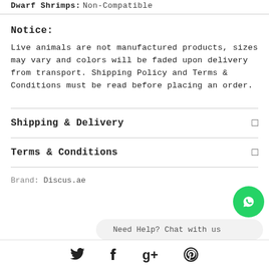| Dwarf Shrimps: | Non-Compatible |
| --- | --- |
Notice:
Live animals are not manufactured products, sizes may vary and colors will be faded upon delivery from transport. Shipping Policy and Terms & Conditions must be read before placing an order.
Shipping & Delivery
Terms & Conditions
Brand: Discus.ae
Need Help? Chat with us
[Figure (logo): Social media icons: Twitter, Facebook, Google+, Pinterest]